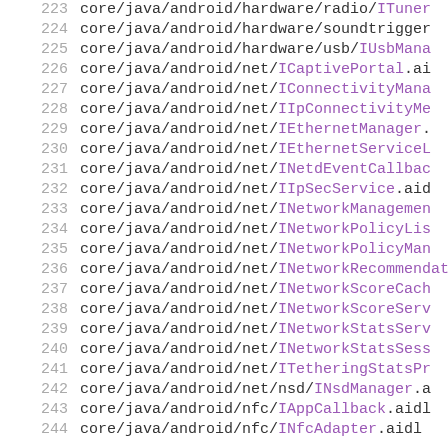223  core/java/android/hardware/radio/ITuner...
224  core/java/android/hardware/soundtrigger...
225  core/java/android/hardware/usb/IUsbMana...
226  core/java/android/net/ICaptivePortal.ai...
227  core/java/android/net/IConnectivityMana...
228  core/java/android/net/IIpConnectivityMe...
229  core/java/android/net/IEthernetManager....
230  core/java/android/net/IEthernetServiceL...
231  core/java/android/net/INetdEventCallbac...
232  core/java/android/net/IIpSecService.aid...
233  core/java/android/net/INetworkManagemen...
234  core/java/android/net/INetworkPolicyLis...
235  core/java/android/net/INetworkPolicyMan...
236  core/java/android/net/INetworkRecommendat...
237  core/java/android/net/INetworkScoreCach...
238  core/java/android/net/INetworkScoreServ...
239  core/java/android/net/INetworkStatsServ...
240  core/java/android/net/INetworkStatsSess...
241  core/java/android/net/ITetheringStatsPr...
242  core/java/android/net/nsd/INsdManager.a...
243  core/java/android/nfc/IAppCallback.aidl...
244  core/java/android/nfc/INfcAdapter.aidl...